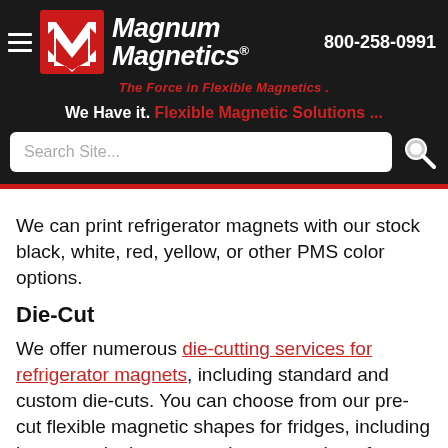[Figure (logo): Magnum Magnetics logo with red M icon and white bold italic text 'Magnum Magnetics' with phone number 800-258-0991]
We Have it. Flexible Magnetic Solutions ...
Search Site...
We can print refrigerator magnets with our stock black, white, red, yellow, or other PMS color options.
Die-Cut
We offer numerous die-cutting services for refrigerator magnets, including standard and custom die-cuts. You can choose from our pre-cut flexible magnetic shapes for fridges, including houses, telephones, number ones, photo frames, delivery vans, and business cards. We can also manufacture a shape individualized to your specifications.